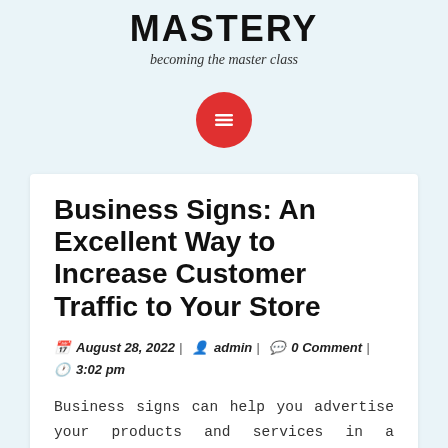MASTERY
becoming the master class
[Figure (other): Red circular hamburger menu button icon with three white horizontal lines]
Business Signs: An Excellent Way to Increase Customer Traffic to Your Store
August 28, 2022 | admin | 0 Comment | 3:02 pm
Business signs can help you advertise your products and services in a variety of ways. Some people choose to use a traditional outdoor business sign while others choose a